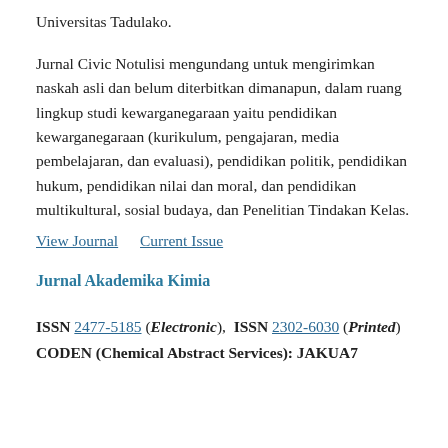Universitas Tadulako.
Jurnal Civic Notulisi mengundang untuk mengirimkan naskah asli dan belum diterbitkan dimanapun, dalam ruang lingkup studi kewarganegaraan yaitu pendidikan kewarganegaraan (kurikulum, pengajaran, media pembelajaran, dan evaluasi), pendidikan politik, pendidikan hukum, pendidikan nilai dan moral, dan pendidikan multikultural, sosial budaya, dan Penelitian Tindakan Kelas.
View Journal   Current Issue
Jurnal Akademika Kimia
ISSN 2477-5185 (Electronic),  ISSN 2302-6030 (Printed)
CODEN (Chemical Abstract Services): JAKUA7